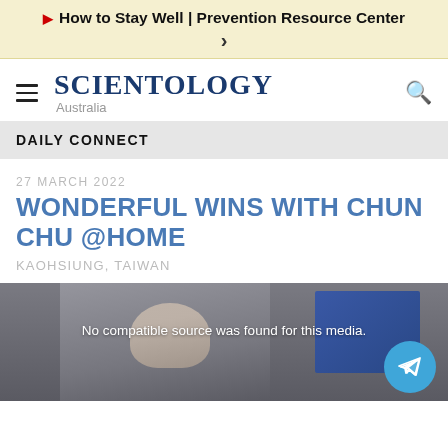How to Stay Well | Prevention Resource Center >
SCIENTOLOGY Australia
DAILY CONNECT
27 MARCH 2022
WONDERFUL WINS WITH CHUN CHU @HOME
KAOHSIUNG, TAIWAN
[Figure (screenshot): Video player showing a person wearing a mask, with text overlay: No compatible source was found for this media. A Telegram share button is visible in the bottom-right corner.]